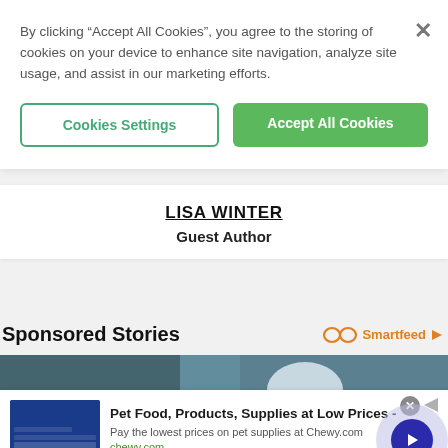By clicking “Accept All Cookies”, you agree to the storing of cookies on your device to enhance site navigation, analyze site usage, and assist in our marketing efforts.
Cookies Settings
Accept All Cookies
LISA WINTER
Guest Author
Sponsored Stories
[Figure (photo): Worker wearing a white hard hat, construction/industrial background]
Pet Food, Products, Supplies at Low Prices -
Pay the lowest prices on pet supplies at Chewy.com
chewy.com